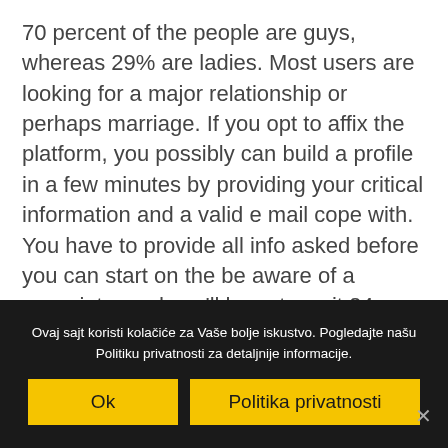70 percent of the people are guys, whereas 29% are ladies. Most users are looking for a major relationship or perhaps marriage. If you opt to affix the platform, you possibly can build a profile in a few minutes by providing your critical information and a valid e mail cope with. You have to provide all info asked before you can start on the be aware of a associate, and you'll have to wait 24 hours to get your account approved. You will find more male than girl members, and many of are from traditional
Ovaj sajt koristi kolačiće za Vaše bolje iskustvo. Pogledajte našu Politiku privatnosti za detaljnije informacije.
Ok
Politika privatnosti